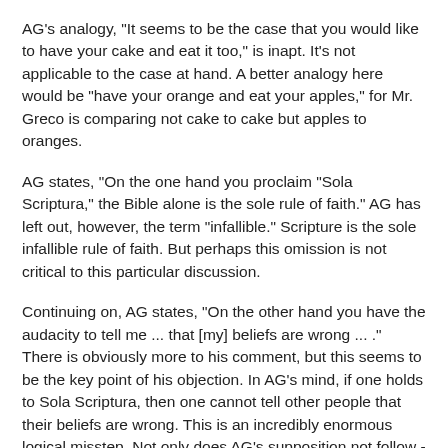AG's analogy, "It seems to be the case that you would like to have your cake and eat it too," is inapt. It's not applicable to the case at hand. A better analogy here would be "have your orange and eat your apples," for Mr. Greco is comparing not cake to cake but apples to oranges.
AG states, "On the one hand you proclaim "Sola Scriptura," the Bible alone is the sole rule of faith." AG has left out, however, the term "infallible." Scripture is the sole infallible rule of faith. But perhaps this omission is not critical to this particular discussion.
Continuing on, AG states, "On the other hand you have the audacity to tell me ... that [my] beliefs are wrong ... ." There is obviously more to his comment, but this seems to be the key point of his objection. In AG's mind, if one holds to Sola Scriptura, then one cannot tell other people that their beliefs are wrong. This is an incredibly enormous logical misstep. Not only does AG's supposition not follow - it is directly contradicted.
The fact that Scripture is a rule of faith provides a way by